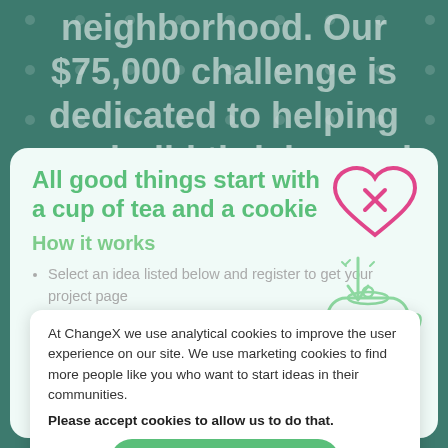neighborhood. Our $75,000 challenge is dedicated to helping you build thriving and sustainable communities in Des Moines.
All good things start with a cup of tea and a cookie
How it works
Select an idea listed below and register to get your project page
Use your project page to complete the 30 Day Challenge
Submit a photo and your action plan
At ChangeX we use analytical cookies to improve the user experience on our site. We use marketing cookies to find more people like you who want to start ideas in their communities.
Please accept cookies to allow us to do that.
I accept cookies
Please don't use cookies